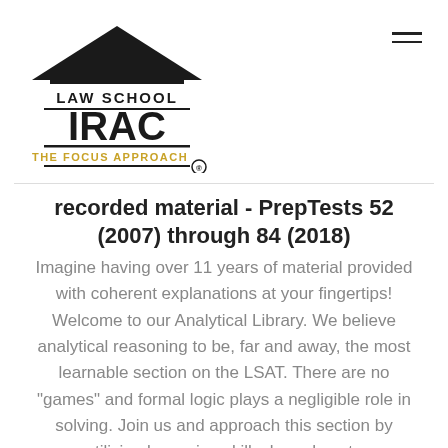[Figure (logo): Law School IRAC - The Focus Approach logo with house/building icon]
recorded material - PrepTests 52 (2007) through 84 (2018)
Imagine having over 11 years of material provided with coherent explanations at your fingertips! Welcome to our Analytical Library. We believe analytical reasoning to be, far and away, the most learnable section on the LSAT. There are no "games" and formal logic plays a negligible role in solving. Join us and approach this section by utilizing lawyering skills; learn how to